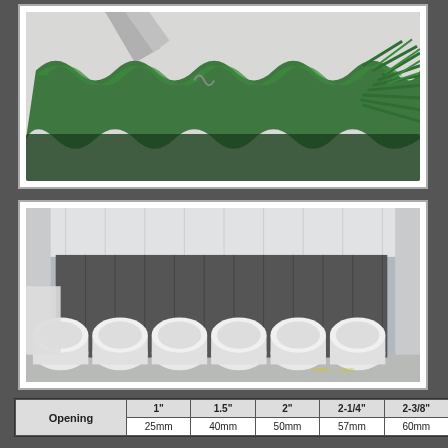[Figure (photo): Green PVC-coated wire mesh/chain link fence material stacked in waves, showing coiled strands against a white background]
[Figure (photo): Interior of a shipping container loaded with rolls of wire mesh fencing - dark rolled bundles stacked vertically in back, white wrapped rolls along the front bottom]
| Opening | 1" | 1.5" | 2" | 2-1/4" | 2-3/8" |
| --- | --- | --- | --- | --- | --- |
|  | 25mm | 40mm | 50mm | 57mm | 60mm |